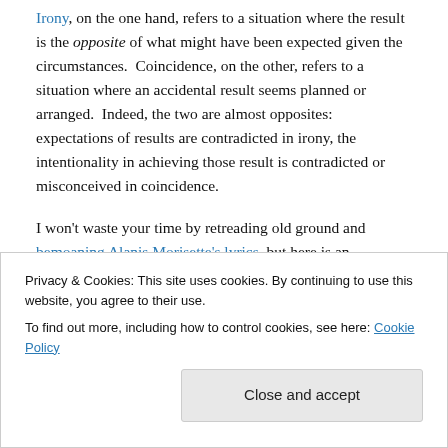Irony, on the one hand, refers to a situation where the result is the opposite of what might have been expected given the circumstances. Coincidence, on the other, refers to a situation where an accidental result seems planned or arranged. Indeed, the two are almost opposites: expectations of results are contradicted in irony, the intentionality in achieving those result is contradicted or misconceived in coincidence.
I won't waste your time by retreading old ground and bemoaning Alanis Morisette's lyrics, but here is an
Privacy & Cookies: This site uses cookies. By continuing to use this website, you agree to their use. To find out more, including how to control cookies, see here: Cookie Policy
Close and accept
is ironic because one would expect a device that is